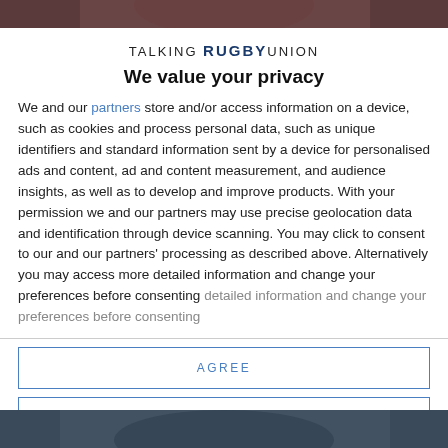[Figure (photo): Top portion of a rugby player photo, cropped, dark reddish-brown tones]
[Figure (logo): TALKING RUGBY UNION logo in uppercase letters, with RUGBY in bold dark blue]
We value your privacy
We and our partners store and/or access information on a device, such as cookies and process personal data, such as unique identifiers and standard information sent by a device for personalised ads and content, ad and content measurement, and audience insights, as well as to develop and improve products. With your permission we and our partners may use precise geolocation data and identification through device scanning. You may click to consent to our and our partners' processing as described above. Alternatively you may access more detailed information and change your preferences before consenting
AGREE
MORE OPTIONS
[Figure (photo): Bottom portion of a rugby player photo, dark blue tones]